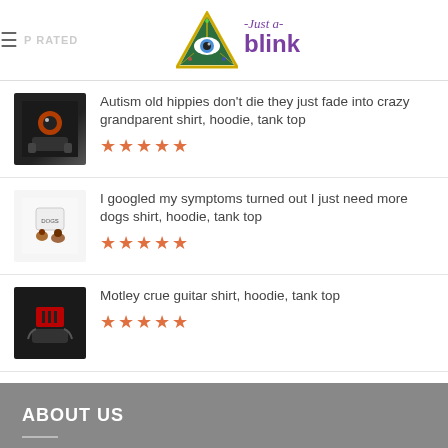Just a- blink (logo with illuminati eye triangle)
Autism old hippies don't die they just fade into crazy grandparent shirt, hoodie, tank top ★★★★★
I googled my symptoms turned out I just need more dogs shirt, hoodie, tank top ★★★★★
Motley crue guitar shirt, hoodie, tank top ★★★★★
ABOUT US